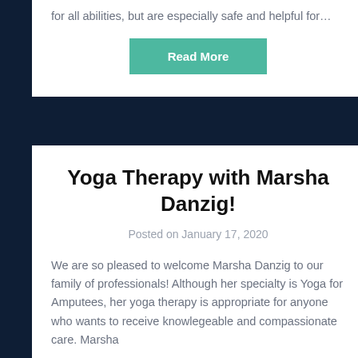for all abilities, but are especially safe and helpful for…
Read More
Yoga Therapy with Marsha Danzig!
Posted on January 17, 2020
We are so pleased to welcome Marsha Danzig to our family of professionals! Although her specialty is Yoga for Amputees, her yoga therapy is appropriate for anyone who wants to receive knowlegeable and compassionate care. Marsha